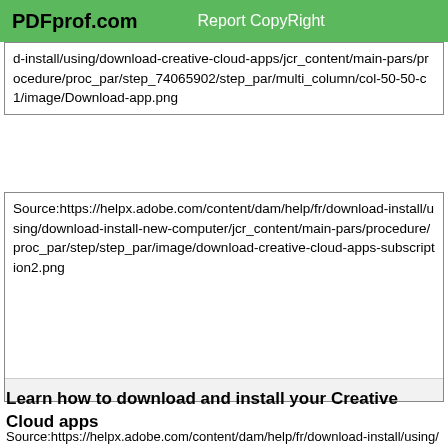PDFprof.com   Report CopyRight
d-install/using/download-creative-cloud-apps/jcr_content/main-pars/procedure/proc_par/step_74065902/step_par/multi_column/col-50-50-c1/image/Download-app.png
Source:https://helpx.adobe.com/content/dam/help/fr/download-install/using/download-install-new-computer/jcr_content/main-pars/procedure/proc_par/step/step_par/image/download-creative-cloud-apps-subscription2.png
Learn how to download and install your Creative Cloud apps
Source:https://helpx.adobe.com/content/dam/help/fr/download-install/using/download-install-new-computer/jcr_content/m